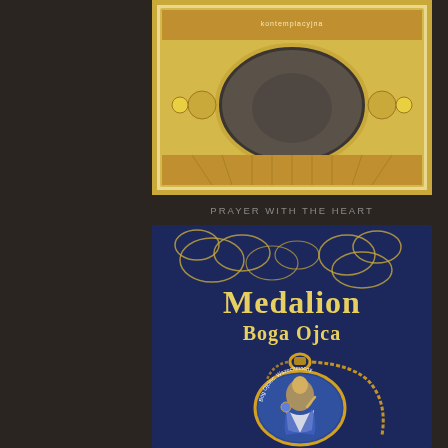[Figure (photo): Book cover with gold ornamental lace border on cream/gold background with oval central image and text 'kontemplacyjna' visible at top]
PRAYER WITH THE HEART
[Figure (photo): Book cover with dark blue background featuring gold cloud outlines, titled 'Medalion Boga Ojca' in gold/cream text, with an image of a religious medal showing God the Father (Bóg Ojciec, Wszechmocny) on a gold chain]